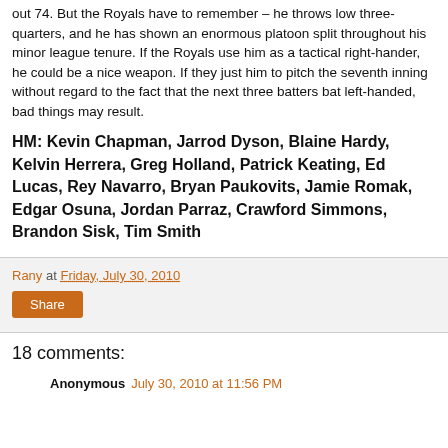out 74. But the Royals have to remember – he throws low three-quarters, and he has shown an enormous platoon split throughout his minor league tenure. If the Royals use him as a tactical right-hander, he could be a nice weapon. If they just him to pitch the seventh inning without regard to the fact that the next three batters bat left-handed, bad things may result.
HM: Kevin Chapman, Jarrod Dyson, Blaine Hardy, Kelvin Herrera, Greg Holland, Patrick Keating, Ed Lucas, Rey Navarro, Bryan Paukovits, Jamie Romak, Edgar Osuna, Jordan Parraz, Crawford Simmons, Brandon Sisk, Tim Smith
Rany at Friday, July 30, 2010
Share
18 comments:
Anonymous July 30, 2010 at 11:56 PM